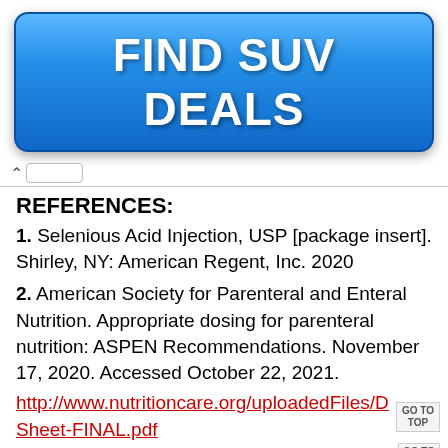[Figure (illustration): Blue rounded button advertisement banner with text FIND SUV DEALS in large white bold letters]
REFERENCES:
1.  Selenious Acid Injection, USP [package insert]. Shirley, NY: American Regent, Inc. 2020
2.  American Society for Parenteral and Enteral Nutrition. Appropriate dosing for parenteral nutrition: ASPEN Recommendations. November 17, 2020. Accessed October 22, 2021.
http://www.nutritioncare.org/uploadedFiles/Do...Sheet-FINAL.pdf